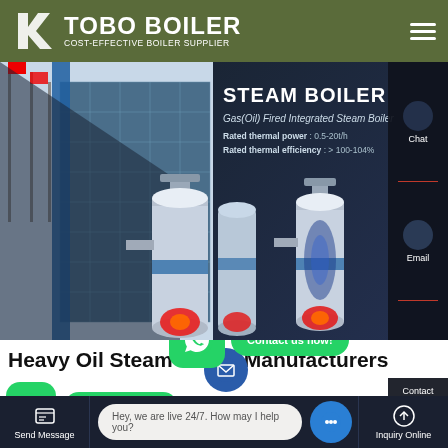[Figure (screenshot): TOBO BOILER website screenshot showing a navigation header with green background, a hero banner featuring a steam boiler product page with building image and boiler units, side chat/email contact panel, heavy oil steam boiler section heading with WhatsApp contact buttons, and a bottom toolbar with Send Message and Inquiry Online options plus live chat bubble]